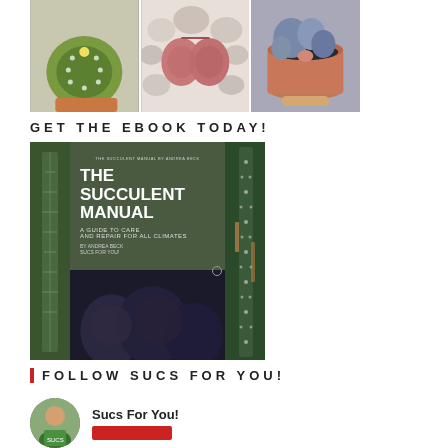[Figure (photo): Three photos in a row: left is a round green cactus in a terracotta pot held in a hand, center is pink-red lithops/living stones on white pebbles, right is a terracotta pot with mixed succulents held in a hand.]
GET THE EBOOK TODAY!
[Figure (photo): Ebook cover for 'The Succulent Manual: A Guide to Care and Repair for All Climates' flanked by tall succulent plant photos on each side. The book cover shows white text on a dark background with dark succulent plants at the bottom.]
FOLLOW SUCS FOR YOU!
Sucs For You!